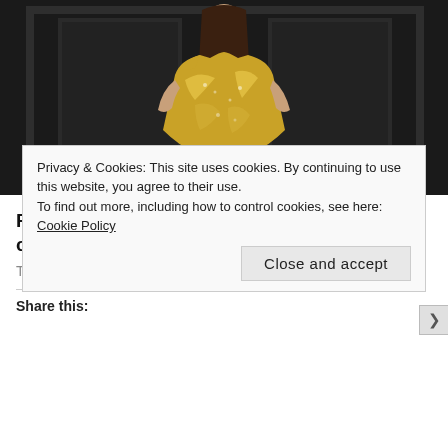[Figure (photo): A woman wearing a gold sequined off-shoulder dress posed against a dark paneled background.]
RHODubai: Chanel Ayan reveals she was circumcised at 5 years old, says it’s her…
The Grio
Share this:
Privacy & Cookies: This site uses cookies. By continuing to use this website, you agree to their use.
To find out more, including how to control cookies, see here: Cookie Policy
Close and accept